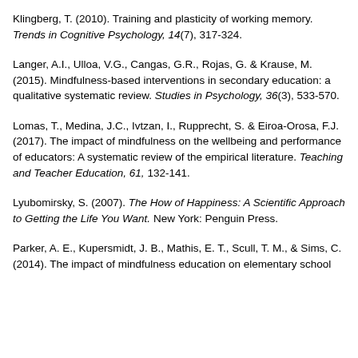Klingberg, T. (2010). Training and plasticity of working memory. Trends in Cognitive Psychology, 14(7), 317-324.
Langer, A.I., Ulloa, V.G., Cangas, G.R., Rojas, G. & Krause, M. (2015). Mindfulness-based interventions in secondary education: a qualitative systematic review. Studies in Psychology, 36(3), 533-570.
Lomas, T., Medina, J.C., Ivtzan, I., Rupprecht, S. & Eiroa-Orosa, F.J. (2017). The impact of mindfulness on the wellbeing and performance of educators: A systematic review of the empirical literature. Teaching and Teacher Education, 61, 132-141.
Lyubomirsky, S. (2007). The How of Happiness: A Scientific Approach to Getting the Life You Want. New York: Penguin Press.
Parker, A. E., Kupersmidt, J. B., Mathis, E. T., Scull, T. M., & Sims, C. (2014). The impact of mindfulness education on elementary school